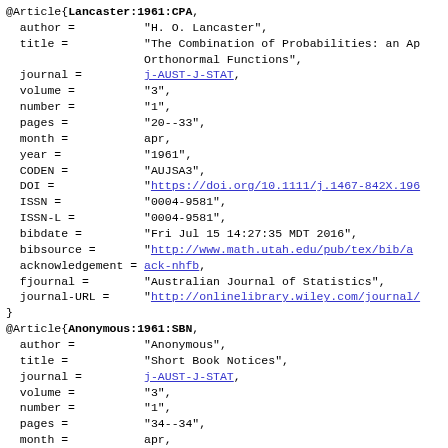@Article{Lancaster:1961:CPA, author = "H. O. Lancaster", title = "The Combination of Probabilities: an Application of Orthonormal Functions", journal = j-AUST-J-STAT, volume = "3", number = "1", pages = "20--33", month = apr, year = "1961", CODEN = "AUJSA3", DOI = "https://doi.org/10.1111/j.1467-842X.196...", ISSN = "0004-9581", ISSN-L = "0004-9581", bibdate = "Fri Jul 15 14:27:35 MDT 2016", bibsource = "http://www.math.utah.edu/pub/tex/bib/a...", acknowledgement = ack-nhfb, fjournal = "Australian Journal of Statistics", journal-URL = "http://onlinelibrary.wiley.com/journal/..." }
@Article{Anonymous:1961:SBN, author = "Anonymous", title = "Short Book Notices", journal = j-AUST-J-STAT, volume = "3", number = "1", pages = "34--34", month = apr, year = "1961", CODEN = "AUJSA3",